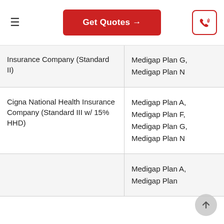Get Quotes →
| Company | Plans Available |
| --- | --- |
| Insurance Company (Standard II) | Medigap Plan G,
Medigap Plan N |
| Cigna National Health Insurance Company (Standard III w/ 15% HHD) | Medigap Plan A,
Medigap Plan F,
Medigap Plan G,
Medigap Plan N |
|  | Medigap Plan A,
Medigap Plan |